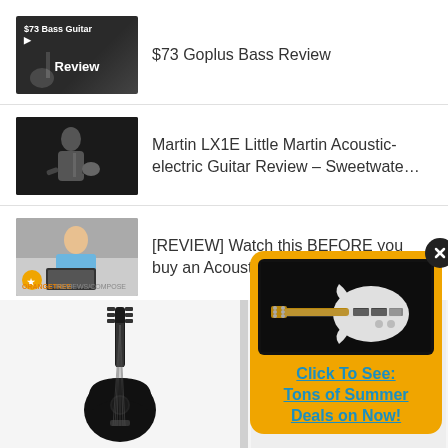[Figure (screenshot): Video thumbnail for $73 Goplus Bass Review showing a person playing bass guitar with text overlay]
$73 Goplus Bass Review
[Figure (screenshot): Video thumbnail for Martin LX1E Little Martin Acoustic-electric Guitar Review on Sweetwater]
Martin LX1E Little Martin Acoustic-electric Guitar Review – Sweetwate…
[Figure (screenshot): Video thumbnail for [REVIEW] Watch this BEFORE you buy an Acoustic Guitar Sample Library]
[REVIEW] Watch this BEFORE you buy an Acoustic Guitar Sample Li…
[Figure (photo): Black acoustic guitar standing upright]
[Figure (photo): Advertisement popup with orange border showing a white electric guitar on black background]
Click To See: Tons of Summer Deals on Now!